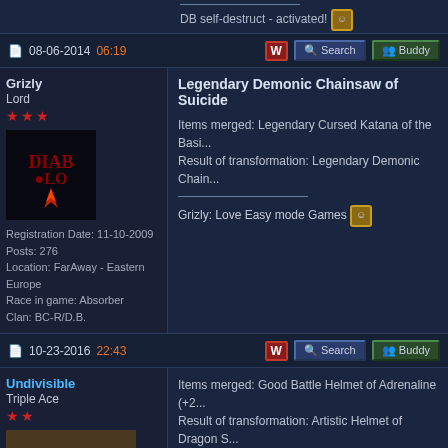DB self-destruct - activated!
08-06-2014 06:19
Grizly
Lord
★★★
Registration Date: 11-10-2009
Posts: 276
Location: FarAway - Eastern Europe
Race in game: Absorber
Clan: BC-R/D.B.
Legendary Demonic Chainsaw of Suicide

Items merged: Legendary Cursed Katana of the Basi...
Result of transformation: Legendary Demonic Chain...

Grizly: Love Easy mode Games
10-23-2016 22:43
Undivisible
Triple Ace
★★
Items merged: Good Battle Helmet of Adrenaline (+2...
Result of transformation: Artistic Helmet of Dragon S...

Items merged: Artistic Helmet of Dragon Scale (+2) a...
Result of transformation: Shinin Mask of Percupio...
------------------------
Items merged: Good Bloody Shorts of Silent Moves...